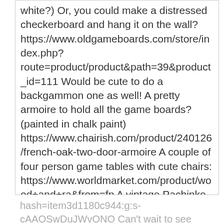white?) Or, you could make a distressed checkerboard and hang it on the wall? https://www.oldgameboards.com/store/index.php?route=product/product&path=39&product_id=111 Would be cute to do a backgammon one as well! A pretty armoire to hold all the game boards? (painted in chalk paint) https://www.chairish.com/product/240126/french-oak-two-door-armoire A couple of four person game tables with cute chairs: https://www.worldmarket.com/product/wood+and+ra&from=fn A vintage Pachinko pinball machine: https://www.ebay.com/itm/Vintage-Japanese-Nishijin-Super-Deluxe-Pachinko-Pinball-Machine-/262286657860?
hash=item3d1180c944:g:s-cAAOSwDuJWvONO Can't wait to see what